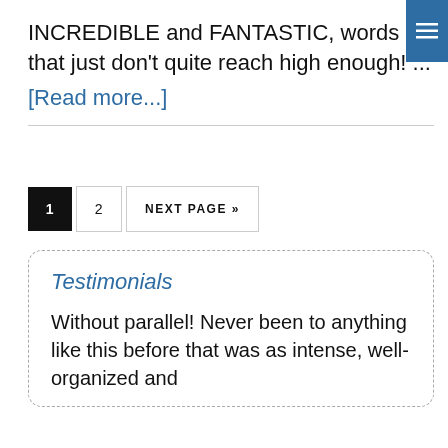INCREDIBLE and FANTASTIC, words that just don't quite reach high enough! ...
[Read more...]
1  2  NEXT PAGE »
Testimonials
Without parallel!  Never been to anything like this before that was as intense, well-organized and